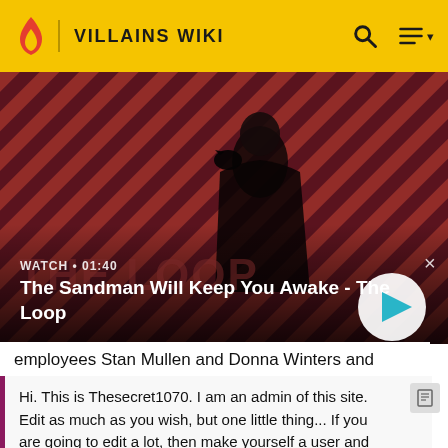VILLAINS WIKI
[Figure (screenshot): Video thumbnail showing a dark-cloaked figure with a raven on shoulder against a red and dark diagonal striped background. 'THE LOOP' text visible. WATCH • 01:40 label with play button.]
The Sandman Will Keep You Awake - The Loop
employees Stan Mullen and Donna Winters and killed them both because Caitlin knew them from her and
Hi. This is Thesecret1070. I am an admin of this site. Edit as much as you wish, but one little thing... If you are going to edit a lot, then make yourself a user and login. Other than that, enjoy Villains Wiki!!!